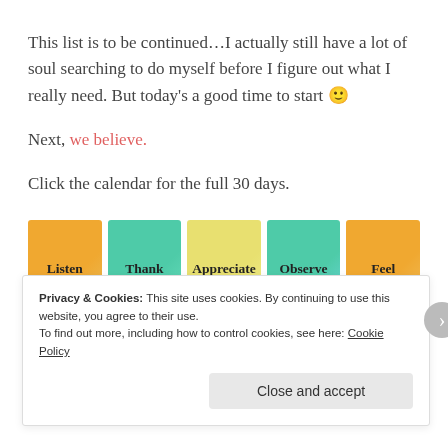This list is to be continued…I actually still have a lot of soul searching to do myself before I figure out what I really need. But today's a good time to start 🙂
Next, we believe.
Click the calendar for the full 30 days.
[Figure (infographic): Five colored cards in a row labeled: Listen (orange/yellow), Thank (teal), Appreciate (yellow), Observe (teal/blue), Feel (orange/yellow), each with a bottom color bar in contrasting colors.]
Privacy & Cookies: This site uses cookies. By continuing to use this website, you agree to their use.
To find out more, including how to control cookies, see here: Cookie Policy
Close and accept